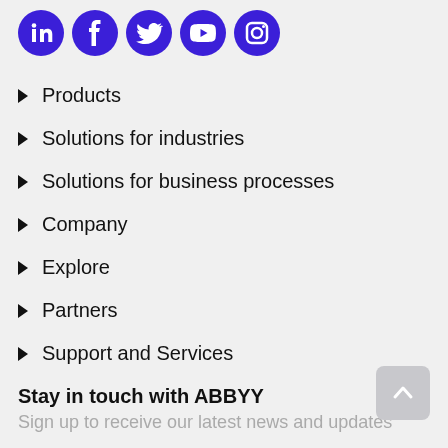[Figure (illustration): Row of five purple circular social media icons: LinkedIn, Facebook, Twitter, YouTube, Instagram]
Products
Solutions for industries
Solutions for business processes
Company
Explore
Partners
Support and Services
Stay in touch with ABBYY
Sign up to receive our latest news and updates